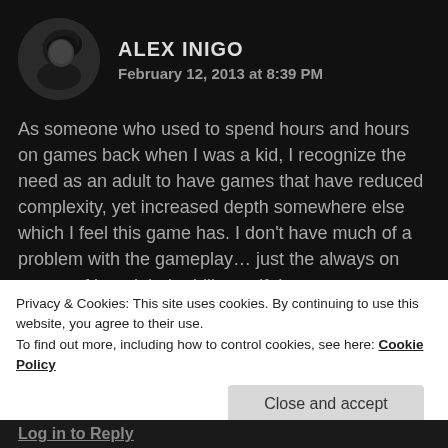ALEX INIGO
February 12, 2013 at 8:39 PM
As someone who used to spend hours and hours on games back when I was a kid, I recognize the need as an adult to have games that have reduced complexity, yet increased depth somewhere else which I feel this game has. I don't have much of a problem with the gameplay... just the always on nature of it and their ability to, if they want to, can force you to upgrade to a new game just by turning off the
Privacy & Cookies: This site uses cookies. By continuing to use this website, you agree to their use.
To find out more, including how to control cookies, see here: Cookie Policy
Close and accept
Log in to Reply